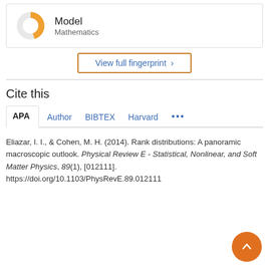[Figure (donut-chart): Donut chart icon for Model / Mathematics fingerprint concept, approximately 70% orange, 30% light gray]
Model
Mathematics
View full fingerprint >
Cite this
APA  Author  BIBTEX  Harvard  ...
Eliazar, I. I., & Cohen, M. H. (2014). Rank distributions: A panoramic macroscopic outlook. Physical Review E - Statistical, Nonlinear, and Soft Matter Physics, 89(1), [012111]. https://doi.org/10.1103/PhysRevE.89.012111